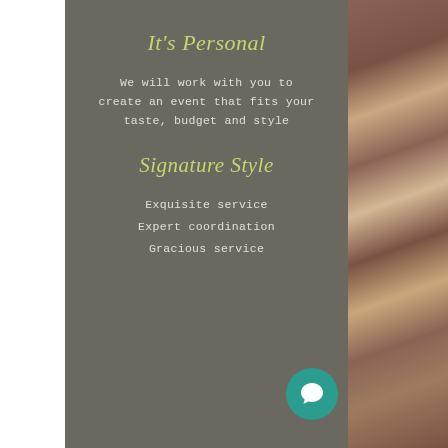[Figure (photo): Photography of people holding wine glasses at a restaurant/event setting, visible on the right side of the page]
It's Personal
We will work with you to create an event that fits your taste, budget and style
Signature Style
Exquisite service
Expert coordination
Gracious service